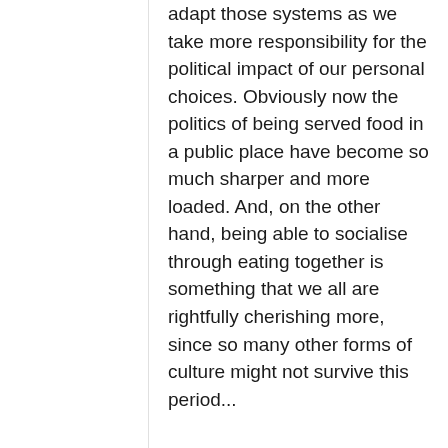adapt those systems as we take more responsibility for the political impact of our personal choices. Obviously now the politics of being served food in a public place have become so much sharper and more loaded. And, on the other hand, being able to socialise through eating together is something that we all are rightfully cherishing more, since so many other forms of culture might not survive this period...
Intergenerational connection and care were also some of the themes in Dreaming / Diasporas, your event as part of the Studios summer programme in 2019. Can you write a bit about it...